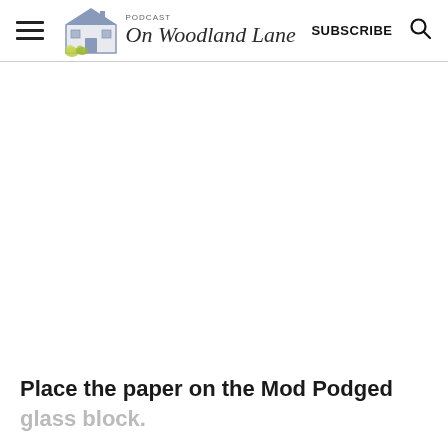On Woodland Lane — SUBSCRIBE
[Figure (photo): Large white/blank area representing an image placeholder on the webpage]
Place the paper on the Mod Podged glass block.